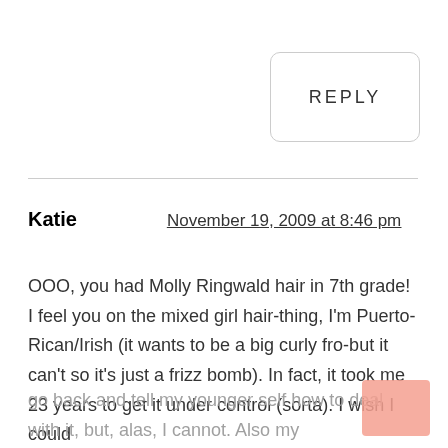REPLY
Katie   November 19, 2009 at 8:46 pm
OOO, you had Molly Ringwald hair in 7th grade! I feel you on the mixed girl hair-thing, I'm Puerto-Rican/Irish (it wants to be a big curly fro-but it can't so it's just a frizz bomb). In fact, it took me 23 years to get it under control (sorta). I wish I could go back and tell my younger self how to deal with it, but, alas, I cannot. Also my